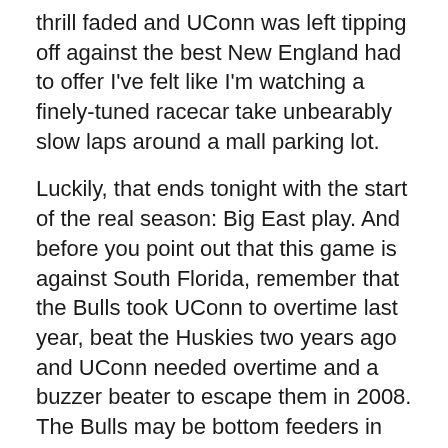thrill faded and UConn was left tipping off against the best New England had to offer I've felt like I'm watching a finely-tuned racecar take unbearably slow laps around a mall parking lot.
Luckily, that ends tonight with the start of the real season: Big East play. And before you point out that this game is against South Florida, remember that the Bulls took UConn to overtime last year, beat the Huskies two years ago and UConn needed overtime and a buzzer beater to escape them in 2008. The Bulls may be bottom feeders in the conference, but they get up to play the Huskies. They also have Agustus Gilchrist who will be the best big man to play against UConn this year, and its the first road game of the year, so a win is by no means guaranteed.